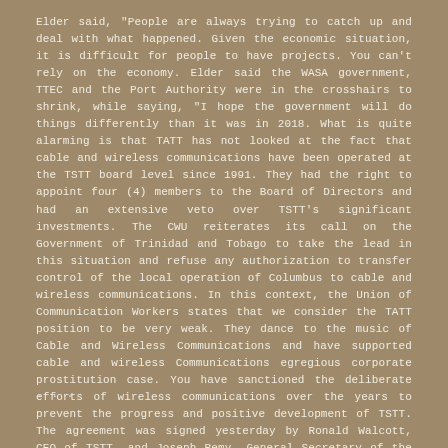Elder said, "People are always trying to catch up and deal with what happened. Given the economic situation, it is difficult for people to have projects. You can't rely on the economy. Elder said the WASA government, TTEC and the Port Authority were in the crosshairs to shrink, while saying, "I hope the government will do things differently than it was in 2018. What is quite alarming is that TATT has not looked at the fact that cable and wireless communications have been operated at the TSTT board level since 1991. They had the right to appoint four (4) members to the Board of Directors and had an extensive veto over TSTT's significant investments. The CWU reiterates its call on the Government of Trinidad and Tobago to take the lead in this situation and refuse any authorization to transfer control of the local operation of Columbus to cable and wireless communications. In this context, the Union of Communication Workers states that we consider the TATT position to be very weak. They dance to the music of Cable and Wireless Communications and have supported cable and wireless Communications egregious corporate prostitution case. You have sanctioned the deliberate efforts of wireless communications over the years to prevent the progress and positive development of TSTT. The agreement was signed yesterday by Ronald Walcott, CEO of TSTT, and Joseph Remy, General Secretary of the Union of Communication Workers, in a conference room at the company's headquarters in downtown Port-of-Spain.
...